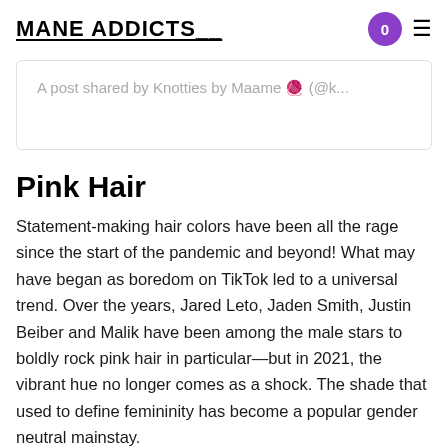MANE ADDICTS
A post shared by Knotties by Maame 🧶 (@k...
Pink Hair
Statement-making hair colors have been all the rage since the start of the pandemic and beyond! What may have began as boredom on TikTok led to a universal trend. Over the years, Jared Leto, Jaden Smith, Justin Beiber and Malik have been among the male stars to boldly rock pink hair in particular—but in 2021, the vibrant hue no longer comes as a shock. The shade that used to define femininity has become a popular gender neutral mainstay.